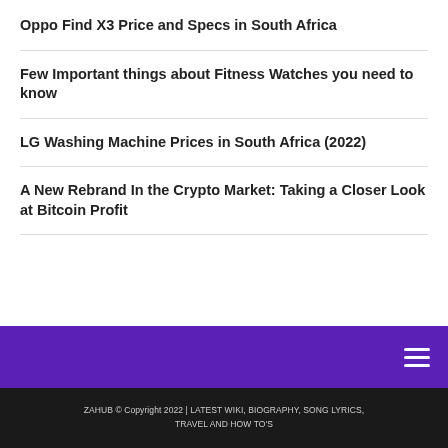Oppo Find X3 Price and Specs in South Africa
Few Important things about Fitness Watches you need to know
LG Washing Machine Prices in South Africa (2022)
A New Rebrand In the Crypto Market: Taking a Closer Look at Bitcoin Profit
ZAHUB © Copyright 2022 | LATEST WIKI, BIOGRAPHY, SONG LYRICS, TRAVEL AND HOW TO'S